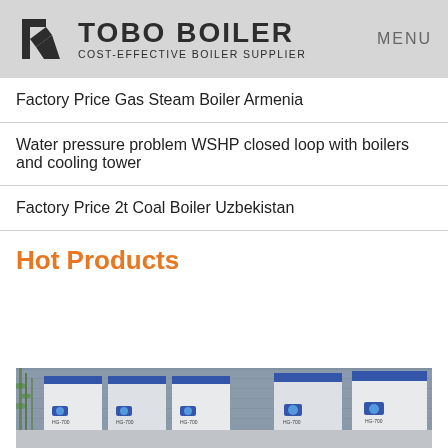TOBO BOILER — COST-EFFECTIVE BOILER SUPPLIER | MENU
Factory Price Gas Steam Boiler Armenia
Water pressure problem WSHP closed loop with boilers and cooling tower
Factory Price 2t Coal Boiler Uzbekistan
Hot Products
[Figure (photo): Row of blue and white industrial boiler units (HG-700 series) arranged outdoors with bamboo plants and a grey wall in the background.]